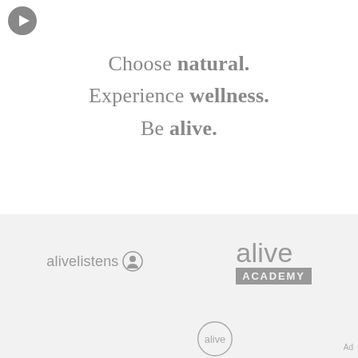[Figure (logo): Gray circular play button icon in top left corner]
Choose natural. Experience wellness. Be alive.
[Figure (logo): alive listens logo with circular person icon]
[Figure (logo): alive ACADEMY logo with alive in large text and ACADEMY in gray block]
[Figure (logo): Partial alive circular logo at bottom]
Ad